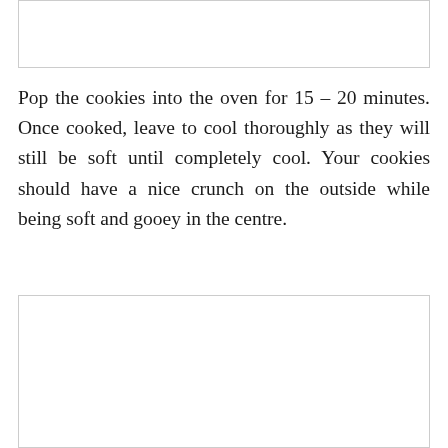[Figure (photo): Empty image placeholder box at top of page]
Pop the cookies into the oven for 15 – 20 minutes. Once cooked, leave to cool thoroughly as they will still be soft until completely cool. Your cookies should have a nice crunch on the outside while being soft and gooey in the centre.
[Figure (photo): Empty image placeholder box at bottom of page]